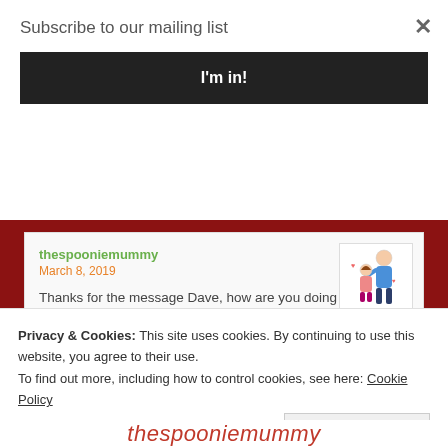Subscribe to our mailing list
I'm in!
thespooniemummy
March 8, 2019
Thanks for the message Dave, how are you doing now? Had another couple have to go in yesterday... my using really are not happy! Xx
[Figure (illustration): Small cartoon illustration of two figures, likely a mother and child, in a white bordered box]
Privacy & Cookies: This site uses cookies. By continuing to use this website, you agree to their use.
To find out more, including how to control cookies, see here: Cookie Policy
Close and accept
thespooniemummy